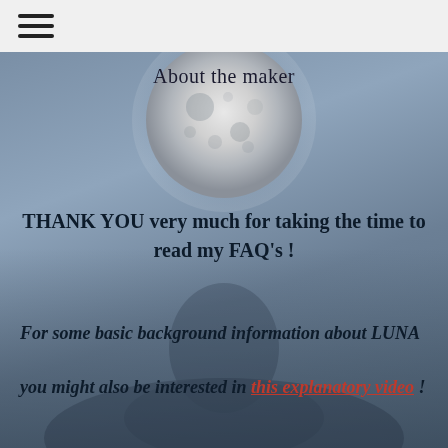☰ (hamburger menu icon)
[Figure (photo): A full moon photograph rendered in grayscale/blue-gray tones, with a shadowy human figure visible in the lower portion of the image. The moon is large and centered at the top portion. Background is a dark blue-gray sky.]
About the maker
THANK YOU very much for taking the time to read my FAQ's !
For some basic background information about LUNA you might also be interested in this explanatory video !
How can I order a LUNA?